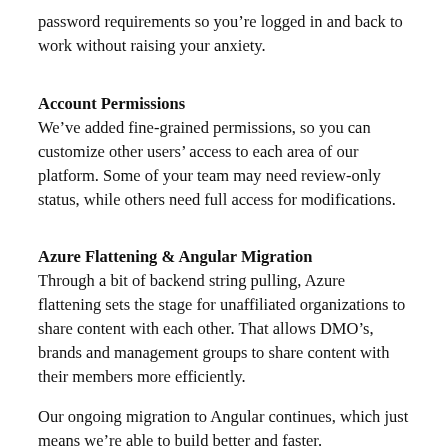password requirements so you're logged in and back to work without raising your anxiety.
Account Permissions
We've added fine-grained permissions, so you can customize other users' access to each area of our platform. Some of your team may need review-only status, while others need full access for modifications.
Azure Flattening & Angular Migration
Through a bit of backend string pulling, Azure flattening sets the stage for unaffiliated organizations to share content with each other. That allows DMO's, brands and management groups to share content with their members more efficiently.
Our ongoing migration to Angular continues, which just means we're able to build better and faster.